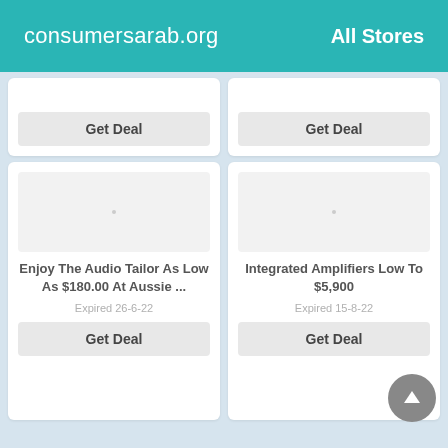consumersarab.org   All Stores
Get Deal
Get Deal
Enjoy The Audio Tailor As Low As $180.00 At Aussie ...
Expired 26-6-22
Get Deal
Integrated Amplifiers Low To $5,900
Expired 15-8-22
Get Deal